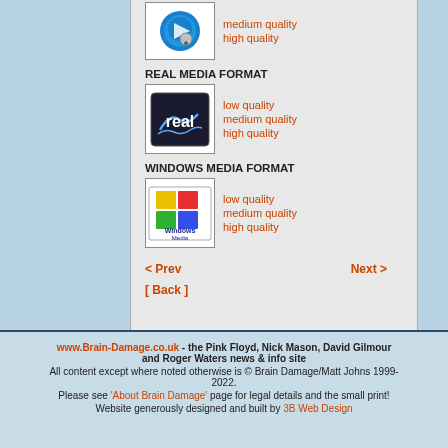REAL MEDIA FORMAT
low quality
medium quality
high quality
WINDOWS MEDIA FORMAT
low quality
medium quality
high quality
< Prev   Next >
[ Back ]
www.Brain-Damage.co.uk - the Pink Floyd, Nick Mason, David Gilmour and Roger Waters news & info site. All content except where noted otherwise is © Brain Damage/Matt Johns 1999-2022. Please see 'About Brain Damage' page for legal details and the small print! Website generously designed and built by 3B Web Design